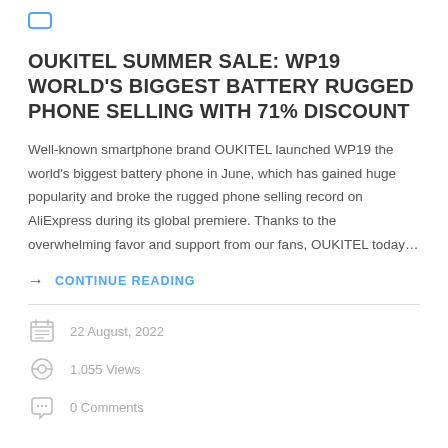OUKITEL SUMMER SALE: WP19 WORLD'S BIGGEST BATTERY RUGGED PHONE SELLING WITH 71% DISCOUNT
Well-known smartphone brand OUKITEL launched WP19 the world's biggest battery phone in June, which has gained huge popularity and broke the rugged phone selling record on AliExpress during its global premiere. Thanks to the overwhelming favor and support from our fans, OUKITEL today…
→ CONTINUE READING
22 August, 2022
1.055 Views
0 Comments